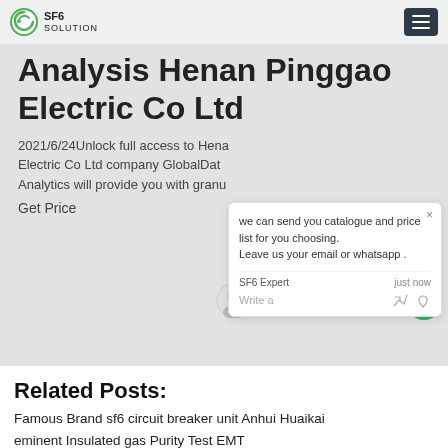SF6 SOLUTION
Analysis Henan Pinggao Electric Co Ltd
2021/6/24Unlock full access to Hena... Electric Co Ltd company GlobalData... Analytics will provide you with gran...
Get Price
[Figure (screenshot): Chat popup with message: we can send you catalogue and price list for you choosing. Leave us your email or whatsapp. SF6 Expert just now. Write a reply area.]
Related Posts:
Famous Brand sf6 circuit breaker unit Anhui Huaikai
eminent Insulated gas Purity Test EMT
Process Flow Chart gis sf6 free toshiba